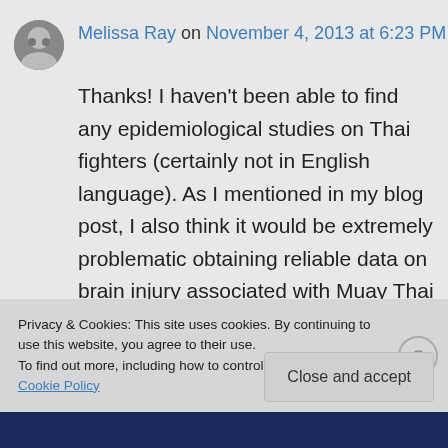Melissa Ray on November 4, 2013 at 6:23 PM
Thanks! I haven't been able to find any epidemiological studies on Thai fighters (certainly not in English language). As I mentioned in my blog post, I also think it would be extremely problematic obtaining reliable data on brain injury associated with Muay Thai fighting because of the many other factors that influence brain function.
Privacy & Cookies: This site uses cookies. By continuing to use this website, you agree to their use.
To find out more, including how to control cookies, see here: Cookie Policy
Close and accept